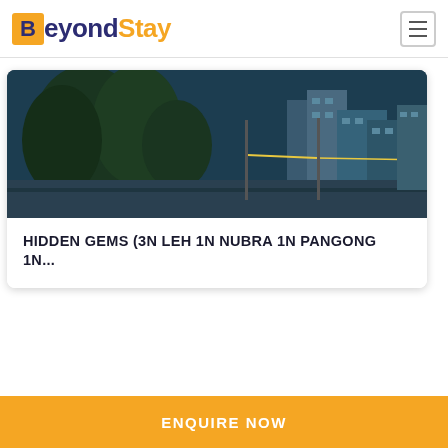BeyondStay
[Figure (photo): Panoramic outdoor scene showing trees, buildings, and a street in what appears to be a mountainous region (Leh/Ladakh)]
HIDDEN GEMS (3N LEH 1N NUBRA 1N PANGONG 1N...
ENQUIRE NOW